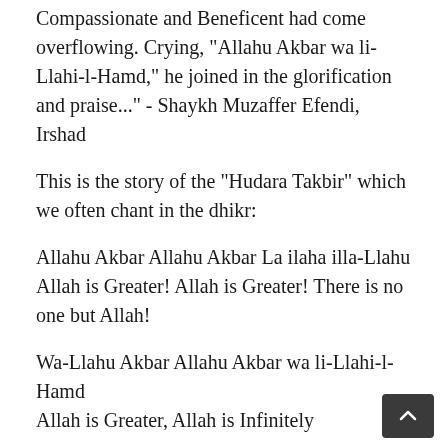Compassionate and Beneficent had come overflowing. Crying, "Allahu Akbar wa li-Llahi-l-Hamd," he joined in the glorification and praise..." - Shaykh Muzaffer Efendi, Irshad
This is the story of the "Hudara Takbir" which we often chant in the dhikr:
Allahu Akbar Allahu Akbar La ilaha illa-Llahu
Allah is Greater! Allah is Greater! There is no one but Allah!
Wa-Llahu Akbar Allahu Akbar wa li-Llahi-l-Hamd
Allah is Greater, Allah is Infinitely